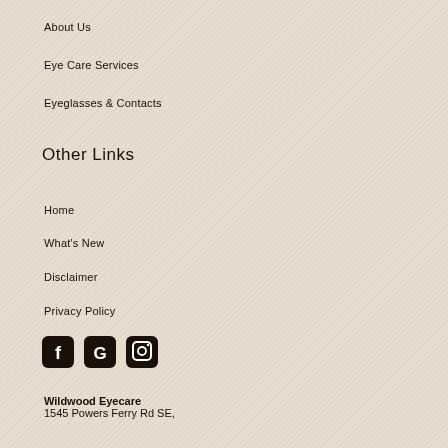About Us
Eye Care Services
Eyeglasses & Contacts
Other Links
Home
What's New
Disclaimer
Privacy Policy
[Figure (logo): Social media icons: Facebook, Google, Instagram]
Wildwood Eyecare
1545 Powers Ferry Rd SE,